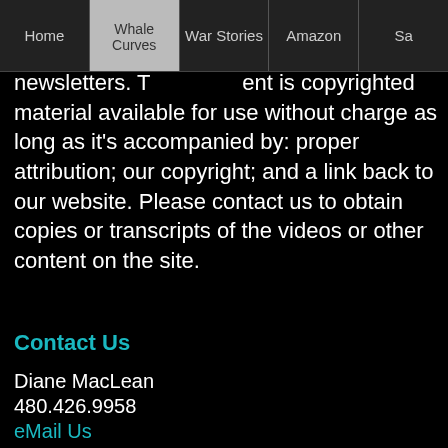Home | Whale Curves | War Stories | Amazon | Sa...
newsletters. T[he cont]ent is copyrighted material available for use without charge as long as it's accompanied by: proper attribution; our copyright; and a link back to our website. Please contact us to obtain copies or transcripts of the videos or other content on the site.
Contact Us
Diane MacLean
480.426.9958
eMail Us
Home | War Stories | Whale Curves | Sales Comp | Amazon Supply | Principles | Newsletters | Glossary | About Us
Recommended Sites: Profit-Ideas • Bruce Merrifield • Randy MacLean • Distribution Education Library • APIC Conference • WayPoint Analytics
©2009–2022 WayPoint Analytics & Merrifield Consulting
unsubscribe